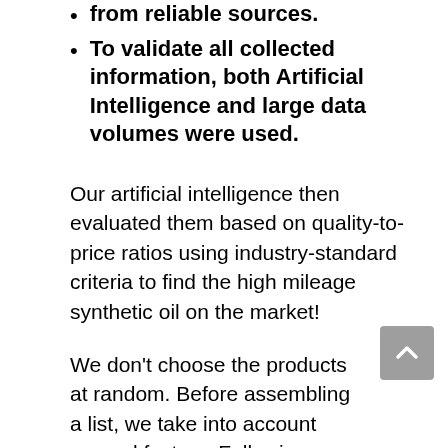from reliable sources.
To validate all collected information, both Artificial Intelligence and large data volumes were used.
Our artificial intelligence then evaluated them based on quality-to-price ratios using industry-standard criteria to find the high mileage synthetic oil on the market!
We don’t choose the products at random. Before assembling a list, we take into account several factors. Following are some of the factors we consider:
Brand Value...